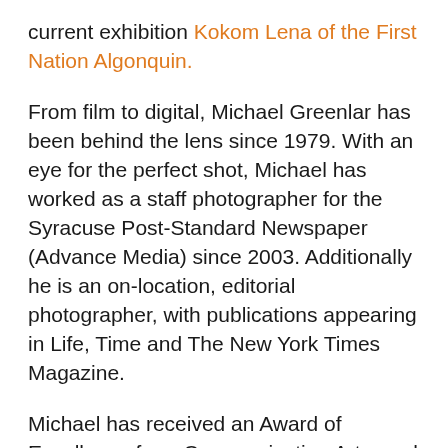current exhibition Kokom Lena of the First Nation Algonquin.
From film to digital, Michael Greenlar has been behind the lens since 1979. With an eye for the perfect shot, Michael has worked as a staff photographer for the Syracuse Post-Standard Newspaper (Advance Media) since 2003. Additionally he is an on-location, editorial photographer, with publications appearing in Life, Time and The New York Times Magazine.
Michael has received an Award of Excellence from Communication Arts, and has been recognized by New York Associated Press, Illinois Associated Press, and the Syracuse Press Club. He has also